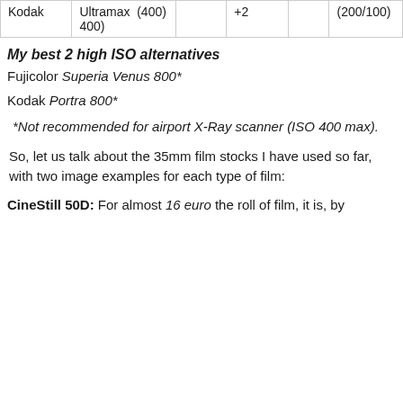| Kodak | Ultramax 400) | (400) | +2 |  | (200/100) |
My best 2 high ISO alternatives
Fujicolor Superia Venus 800*
Kodak Portra 800*
*Not recommended for airport X-Ray scanner (ISO 400 max).
So, let us talk about the 35mm film stocks I have used so far, with two image examples for each type of film:
CineStill 50D: For almost 16 euro the roll of film, it is, by